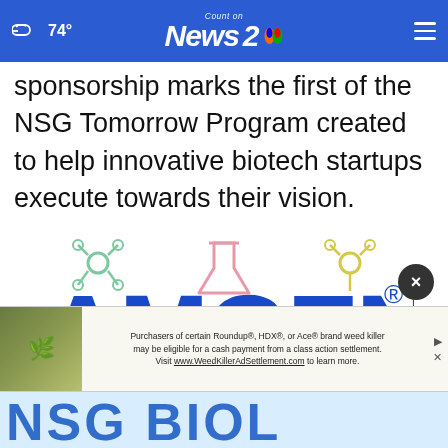Count on News 2 — 74°
sponsorship marks the first of the NSG Tomorrow Program created to help innovative biotech startups execute towards their vision.
[Figure (logo): Amgen® logo in blue text on white background]
[Figure (illustration): NSG Biolab icons — colored molecular and flask symbols, partial view, with NSG BIOL text visible at bottom]
[Figure (other): Advertisement banner: Roundup, HDX, Ace brand weed killer class action settlement. Visit www.WeedKillerAdSettlement.com to learn more.]